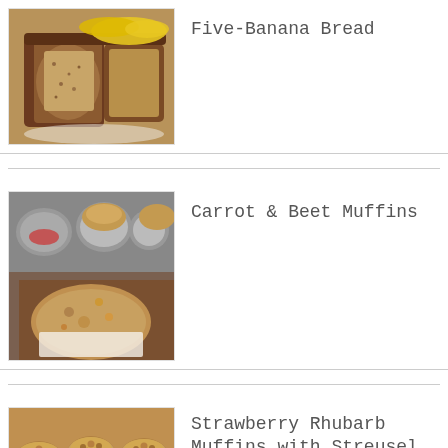[Figure (photo): Sliced banana bread loaf with whole bananas in background]
Five-Banana Bread
[Figure (photo): Carrot and beet muffins in a muffin tin with one unwrapped muffin showing interior]
Carrot & Beet Muffins
[Figure (photo): Strawberry rhubarb muffins with streusel topping on a baking sheet]
Strawberry Rhubarb Muffins with Streusel